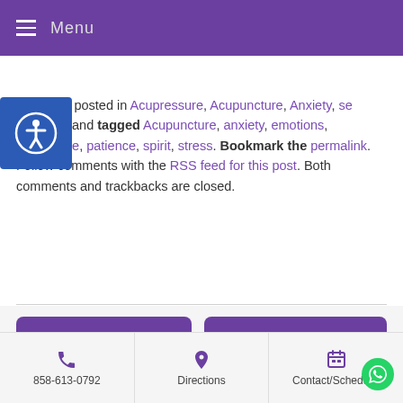Menu
rticle was posted in Acupressure, Acupuncture, Anxiety, se Medicine and tagged Acupuncture, anxiety, emotions, impatience, patience, spirit, stress. Bookmark the permalink. Follow comments with the RSS feed for this post. Both comments and trackbacks are closed.
Acupuncture and Autoimmune Diseases »
« Chakra Series exercise meditation with oils and tuning forks
858-613-0792 | Directions | Contact/Schedu...